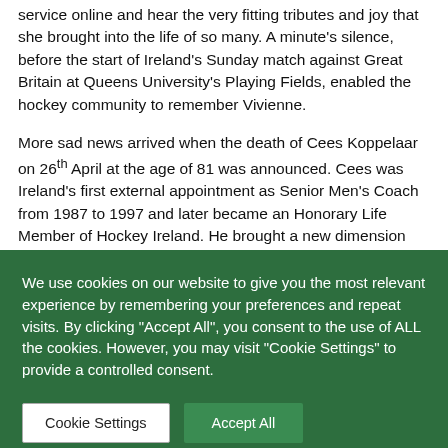service online and hear the very fitting tributes and joy that she brought into the life of so many. A minute's silence, before the start of Ireland's Sunday match against Great Britain at Queens University's Playing Fields, enabled the hockey community to remember Vivienne.
More sad news arrived when the death of Cees Koppelaar on 26th April at the age of 81 was announced. Cees was Ireland's first external appointment as Senior Men's Coach from 1987 to 1997 and later became an Honorary Life Member of Hockey Ireland. He brought a new dimension
We use cookies on our website to give you the most relevant experience by remembering your preferences and repeat visits. By clicking "Accept All", you consent to the use of ALL the cookies. However, you may visit "Cookie Settings" to provide a controlled consent.